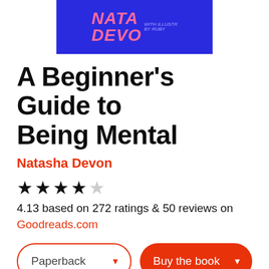[Figure (illustration): Book cover snippet showing 'NATASHA DEVON' text in pink on dark blue background with 'WITH ILLUSTRATIONS BY RUBY' text]
A Beginner's Guide to Being Mental
Natasha Devon
4.13 based on 272 ratings & 50 reviews on Goodreads.com
Paperback
Buy the book
[Figure (illustration): Blue rounded square with partial circle/avatar icon visible at bottom of page]